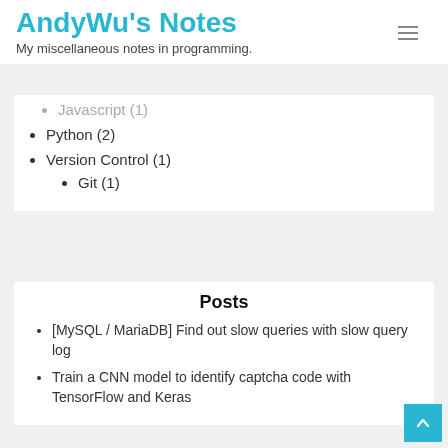AndyWu's Notes
My miscellaneous notes in programming.
Javascript (1)
Python (2)
Version Control (1)
Git (1)
Posts
[MySQL / MariaDB] Find out slow queries with slow query log
Train a CNN model to identify captcha code with TensorFlow and Keras